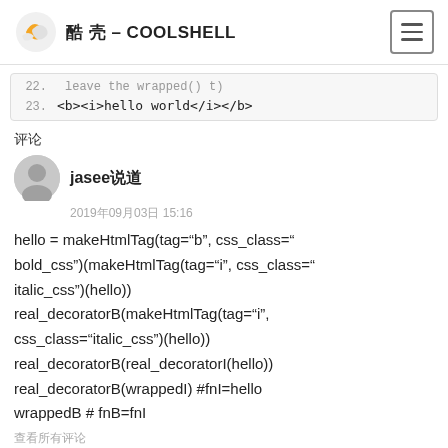酷 壳 – COOLSHELL
| 22. | leave the wrapped() t) |
| 23. | <b><i>hello world</i></b> |
评论
jasee说道
2019年09月03日 15:16
hello = makeHtmlTag(tag="b", css_class="bold_css")(makeHtmlTag(tag="i", css_class="italic_css")(hello))
real_decoratorB(makeHtmlTag(tag="i", css_class="italic_css")(hello))
real_decoratorB(real_decoratorI(hello))
real_decoratorB(wrappedI) #fnI=hello
wrappedB # fnB=fnI
查看所有评论